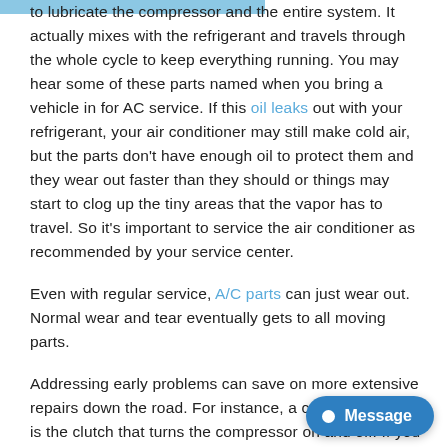to lubricate the compressor and the entire system. It actually mixes with the refrigerant and travels through the whole cycle to keep everything running. You may hear some of these parts named when you bring a vehicle in for AC service. If this oil leaks out with your refrigerant, your air conditioner may still make cold air, but the parts don't have enough oil to protect them and they wear out faster than they should or things may start to clog up the tiny areas that the vapor has to travel. So it's important to service the air conditioner as recommended by your service center.
Even with regular service, A/C parts can just wear out. Normal wear and tear eventually gets to all moving parts.
Addressing early problems can save on more extensive repairs down the road. For instance, a common failure is the clutch that turns the compressor on and off. If you can take care of a bad AC Clutch when it first starts having problems, you may